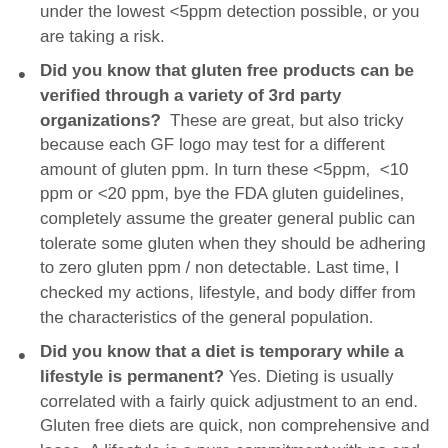under the lowest <5ppm detection possible, or you are taking a risk.
Did you know that gluten free products can be verified through a variety of 3rd party organizations?  These are great, but also tricky because each GF logo may test for a different amount of gluten ppm. In turn these <5ppm,  <10 ppm or <20 ppm, bye the FDA gluten guidelines, completely assume the greater general public can tolerate some gluten when they should be adhering to zero gluten ppm / non detectable. Last time, I checked my actions, lifestyle, and body differ from the characteristics of the general population.
Did you know that a diet is temporary while a lifestyle is permanent? Yes. Dieting is usually correlated with a fairly quick adjustment to an end. Gluten free diets are quick, non comprehensive and loose. A lifestyle is a pure commitment with no end. Gluten Free lifestyles